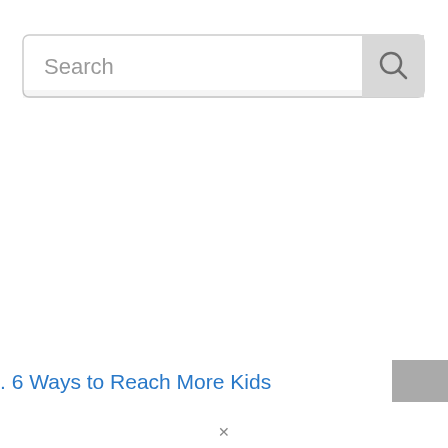[Figure (screenshot): Search bar UI element with text placeholder 'Search' and a magnifying glass icon button on the right side]
. 6 Ways to Reach More Kids